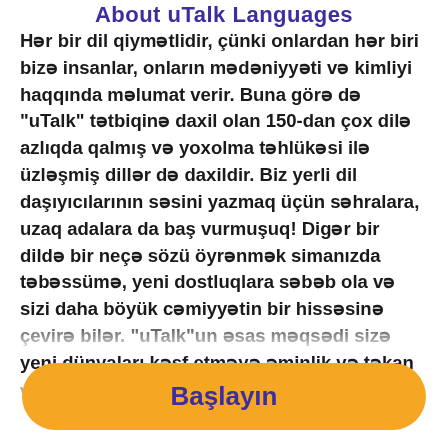About uTalk Languages
Hər bir dil qiymətlidir, çünki onlardan hər biri bizə insanlar, onların mədəniyyəti və kimliyi haqqında məlumat verir. Buna görə də "uTalk" tətbiqinə daxil olan 150-dan çox dilə azlıqda qalmış və yoxolma təhlükəsi ilə üzləşmiş dillər də daxildir. Biz yerli dil daşıyıcılarının səsini yazmaq üçün səhralara, uzaq adalara da baş vurmuşuq! Digər bir dildə bir neçə sözü öyrənmək simanızda təbəssümə, yeni dostluqlara səbəb ola və sizi daha böyük cəmiyyətin bir hissəsinə çevirə bilər. "uTalk"un əsas məqsədi sizə yeni dünyaları kəşf etməyə əminlik və təkan vermakdir.
Başlayın